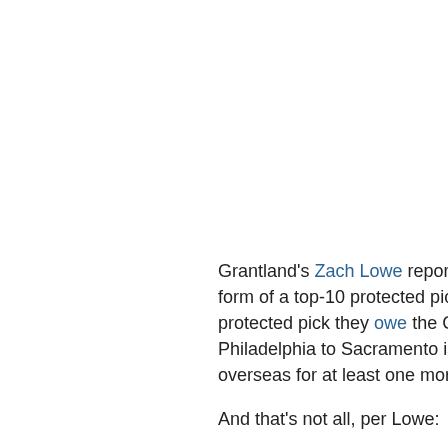Grantland's Zach Lowe reports the Sixers also received a serious sweetener from Sacramento in the form of a top-10 protected pick that can be credited to the Sixers once the Kings pay out the top-10 protected pick they owe the Chicago Bulls. Lowe reiterated that the prospect being shipped from Philadelphia to Sacramento is not 2014 No. 12 overall pick Dario Saric, who is currently stashed overseas for at least one more season.
And that's not all, per Lowe: